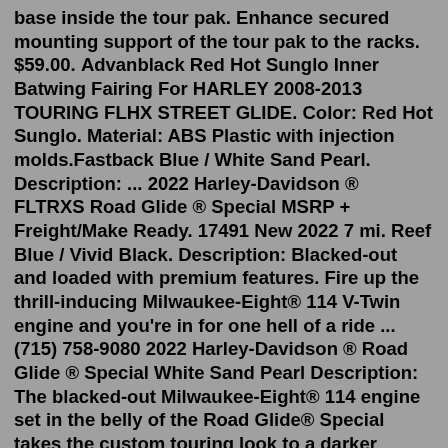base inside the tour pak. Enhance secured mounting support of the tour pak to the racks. $59.00. Advanblack Red Hot Sunglo Inner Batwing Fairing For HARLEY 2008-2013 TOURING FLHX STREET GLIDE. Color: Red Hot Sunglo. Material: ABS Plastic with injection molds.Fastback Blue / White Sand Pearl. Description: ... 2022 Harley-Davidson ® FLTRXS Road Glide ® Special MSRP + Freight/Make Ready. 17491 New 2022 7 mi. Reef Blue / Vivid Black. Description: Blacked-out and loaded with premium features. Fire up the thrill-inducing Milwaukee-Eight® 114 V-Twin engine and you're in for one hell of a ride ...(715) 758-9080 2022 Harley-Davidson ® Road Glide ® Special White Sand Pearl Description: The blacked-out Milwaukee-Eight® 114 engine set in the belly of the Road Glide® Special takes the custom touring look to a darker place. › 2022 Harley-Davidson ® Street Glide ® White Sand Pearl. ... 2021 Harley-Davidson ® Street Glide ® Special Gauntlet Gray Metallic - Black Fin $28,990 $34,490 Description: Description: Share 2021 in 2022